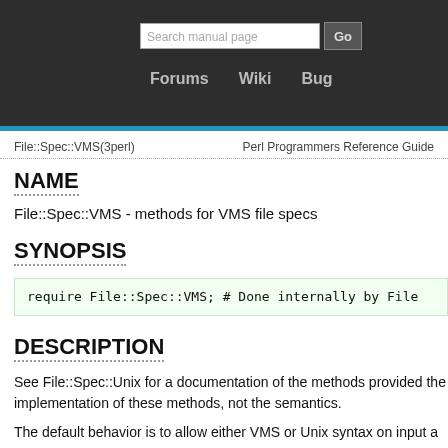Search manual page  Go  Forums  Wiki  Bug
File::Spec::VMS(3perl)    Perl Programmers Reference Guide
NAME
File::Spec::VMS - methods for VMS file specs
SYNOPSIS
require File::Spec::VMS; # Done internally by File
DESCRIPTION
See File::Spec::Unix for a documentation of the methods provided the implementation of these methods, not the semantics.
The default behavior is to allow either VMS or Unix syntax on input a